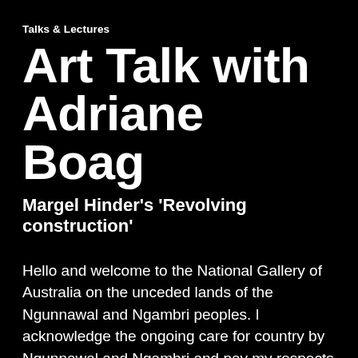Talks & Lectures
Art Talk with Adriane Boag
Margel Hinder's 'Revolving construction'
Hello and welcome to the National Gallery of Australia on the unceded lands of the Ngunnawal and Ngambri peoples. I acknowledge the ongoing care for country by Ngunnawal and Ngambri and pay my respects to elders, past and present. I was born on Wiradjuri Country to the west of